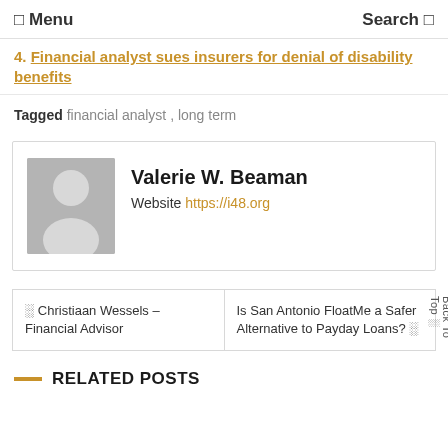☰ Menu   Search 🔍
4. Financial analyst sues insurers for denial of disability benefits
Tagged financial analyst , long term
Valerie W. Beaman
Website https://i48.org
← Christiaan Wessels – Financial Advisor   |   Is San Antonio FloatMe a Safer Alternative to Payday Loans? →
— RELATED POSTS